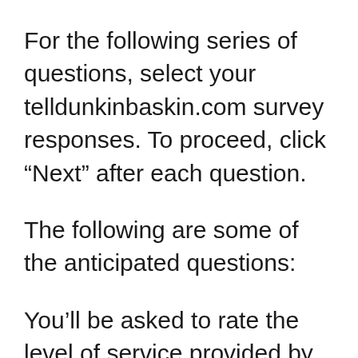For the following series of questions, select your telldunkinbaskin.com survey responses. To proceed, click “Next” after each question.
The following are some of the anticipated questions:
You’ll be asked to rate the level of service provided by Dunkin’ Donuts & Baskin...